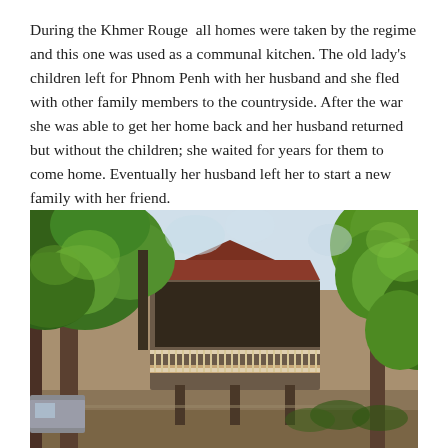During the Khmer Rouge  all homes were taken by the regime and this one was used as a communal kitchen. The old lady's children left for Phnom Penh with her husband and she fled with other family members to the countryside. After the war she was able to get her home back and her husband returned but without the children; she waited for years for them to come home. Eventually her husband left her to start a new family with her friend.
[Figure (photo): Outdoor photograph of a traditional elevated wooden house partially obscured by large green trees and lush foliage. The house has a balcony with white railings and is raised on stilts. The scene is daytime with bright natural light filtering through the leaves.]